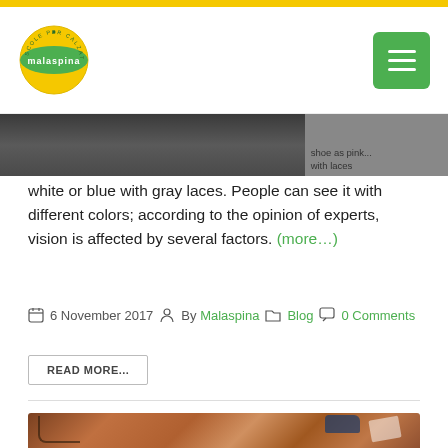[Figure (logo): Malaspina Scarpe logo — circular badge with yellow and green colors]
[Figure (other): Green hamburger menu button]
[Figure (photo): Partial image strip — shoe or product image cropped at top]
with laces white or blue with gray laces. People can see it with different colors; according to the opinion of experts, vision is affected by several factors. (more…)
6 November 2017   By Malaspina   Blog   0 Comments
READ MORE...
[Figure (photo): Photo showing toys and objects on a brown surface including a toy gun, toy car, cards and a tablet]